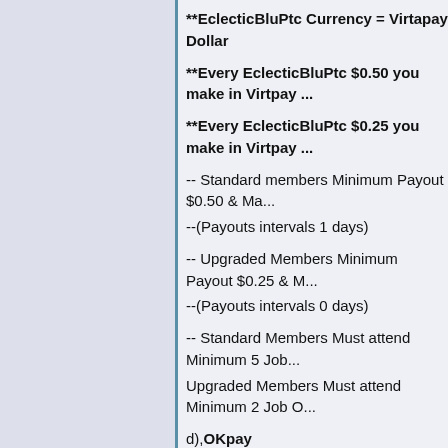**EclecticBluPtc Currency = Virtapay Dollar
**Every EclecticBluPtc $0.50 you make in Virtpay ...
**Every EclecticBluPtc $0.25 you make in Virtpay ...
-- Standard members Minimum Payout $0.50 & Ma...
--(Payouts intervals 1 days)
-- Upgraded Members Minimum Payout $0.25 & M...
--(Payouts intervals 0 days)
-- Standard Members Must attend Minimum 5 Job...
Upgraded Members Must attend Minimum 2 Job O...
d),OKpay
-- Standard members Minimum Payout $0.15 & Ma...
%.
--(Payouts intervals 10 days)
-- Upgraded Members Minimum Payout $0.10 $ M...
%.
--(Payouts intervals 3 days)
-- Standard Members Must attend Minimum 10 Job...
Upgraded Members Must attend Minimum 5 Job...